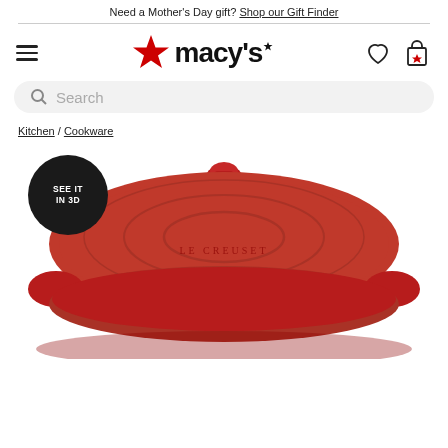Need a Mother's Day gift? Shop our Gift Finder
[Figure (logo): Macy's logo with red star and hamburger menu, plus heart and shopping bag icons]
Search
Kitchen / Cookware
[Figure (photo): Red Le Creuset dutch oven with lid shown from above, with a 'SEE IT IN 3D' badge overlay]